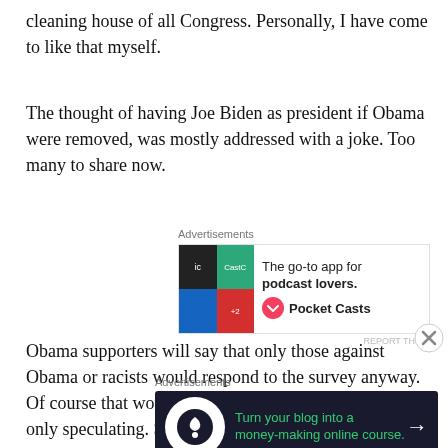cleaning house of all Congress.  Personally, I have come to like that myself.
The thought of having Joe Biden as president if Obama were removed, was mostly addressed with a joke.   Too many to share now.
[Figure (other): Advertisement for Pocket Casts app showing a colorful quadrant logo and text: The go-to app for podcast lovers.]
Obama supporters will say that only those against Obama or racists would respond to the survey anyway.   Of course that would be their justification, but I am only speculating.  Speaking of which, it was mentioned that impeachment would
[Figure (other): Advertisement: Turn your blog into a money-making online course. Dark background with green text and arrow.]